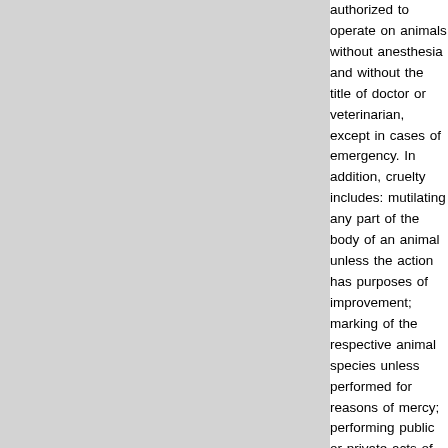authorized to operate on animals without anesthesia and without the title of doctor or veterinarian, except in cases of emergency. In addition, cruelty includes: mutilating any part of the body of an animal unless the action has purposes of improvement; marking of the respective animal species unless performed for reasons of mercy; performing public or private acts of animal fights, bullfights and parodies where animals are killed, injured or harassed; and